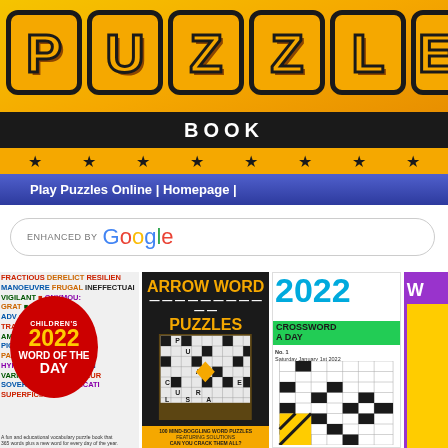[Figure (logo): PUZZLE BOOK logo with orange block letters on yellow/orange gradient background, black book bar, stars row, blue navigation bar]
Play Puzzles Online | Homepage |
ENHANCED BY Google
[Figure (photo): Four puzzle book covers in a row: Children's 2022 Word of the Day, Arrow Word Puzzles, 2022 Crossword A Day, and a partial fourth book with purple background]